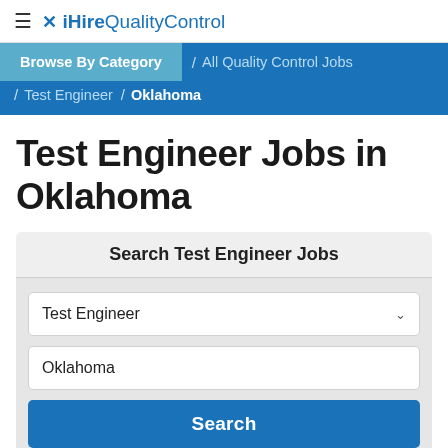≡ ✕ iHireQualityControl
Browse By Category / All Quality Control Jobs / Test Engineer / Oklahoma
Test Engineer Jobs in Oklahoma
Search Test Engineer Jobs
Test Engineer
Oklahoma
Search